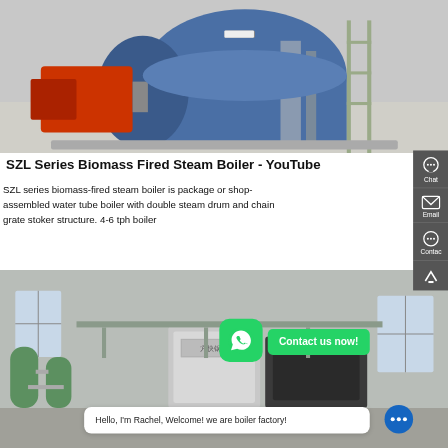[Figure (photo): Industrial SZL series biomass-fired steam boiler in a factory setting, showing a large blue cylindrical boiler with red burner attachment and metal scaffolding]
SZL Series Biomass Fired Steam Boiler - YouTube
SZL series biomass-fired steam boiler is package or shop-assembled water tube boiler with double steam drum and chain grate stoker structure. 4-6 tph boiler
[Figure (photo): Boiler room interior showing industrial boiler equipment with water treatment tanks on the left, metal boiler units in the center, and industrial piping]
Hello, I'm Rachel, Welcome! we are boiler factory!